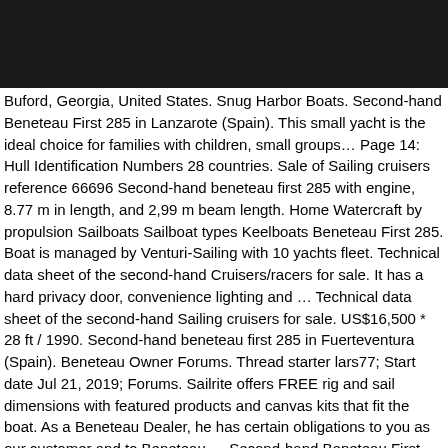[Figure (other): Black rectangular banner/header bar at top of page]
Buford, Georgia, United States. Snug Harbor Boats. Second-hand Beneteau First 285 in Lanzarote (Spain). This small yacht is the ideal choice for families with children, small groups… Page 14: Hull Identification Numbers 28 countries. Sale of Sailing cruisers reference 66696 Second-hand beneteau first 285 with engine, 8.77 m in length, and 2,99 m beam length. Home Watercraft by propulsion Sailboats Sailboat types Keelboats Beneteau First 285. Boat is managed by Venturi-Sailing with 10 yachts fleet. Technical data sheet of the second-hand Cruisers/racers for sale. It has a hard privacy door, convenience lighting and … Technical data sheet of the second-hand Sailing cruisers for sale. US$16,500 * 28 ft / 1990. Second-hand beneteau first 285 in Fuerteventura (Spain). Beneteau Owner Forums. Thread starter lars77; Start date Jul 21, 2019; Forums. Sailrite offers FREE rig and sail dimensions with featured products and canvas kits that fit the boat. As a Beneteau Dealer, he has certain obligations to you as our customer and to Beneteau … Second-hand Beneteau First 285 with engine, 8.77 m in length, and 2,99 m beam length. Request Info. Band of Boats, thousands of boats for sale: find your future boat. Beneteau 31 Beneteau 361